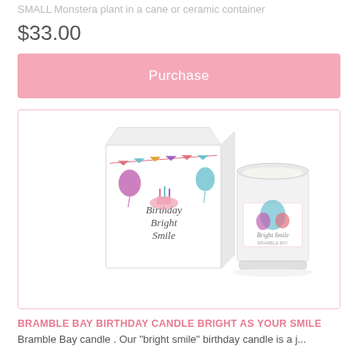SMALL Monstera plant in a cane or ceramic container
$33.00
Purchase
[Figure (photo): Birthday candle product photo showing a decorative gift box labeled 'Birthday Bright Smile' next to a white glass candle jar with a colorful illustrated label, on a white background inside a pink-bordered card]
BRAMBLE BAY BIRTHDAY CANDLE BRIGHT AS YOUR SMILE
Bramble Bay candle . Our "bright smile" birthday candle is a j...